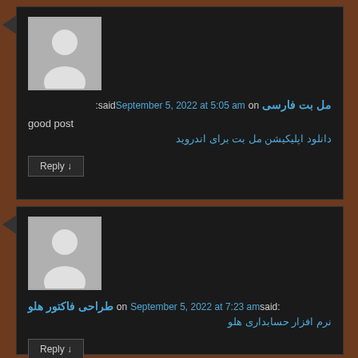[Figure (illustration): Default avatar icon - gray silhouette of a person on gray background, first comment]
مل بت فارسی on September 5, 2022 at 5:05 am said:
good post
دانلود اپلیکیشن مل بت برای اندروید
Reply ↓
[Figure (illustration): Default avatar icon - gray silhouette of a person on gray background, second comment]
طراحی فاکتور هلو on September 5, 2022 at 7:23 am said:
نرم افزار حسابداری هلو
Reply ↓